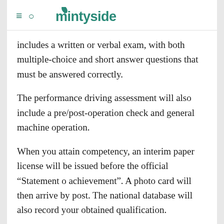mintyside
includes a written or verbal exam, with both multiple-choice and short answer questions that must be answered correctly.
The performance driving assessment will also include a pre/post-operation check and general machine operation.
When you attain competency, an interim paper license will be issued before the official “Statement o achievement”. A photo card will then arrive by post. The national database will also record your obtained qualification.